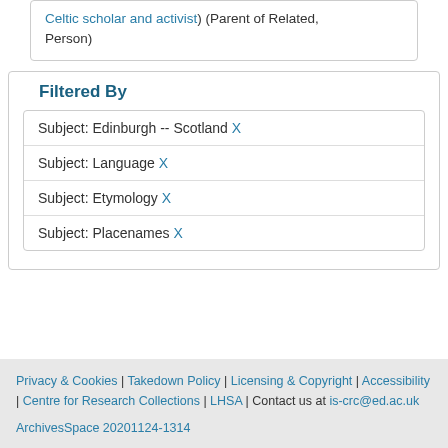Celtic scholar and activist (Parent of Related, Person)
Filtered By
Subject: Edinburgh -- Scotland X
Subject: Language X
Subject: Etymology X
Subject: Placenames X
Privacy & Cookies | Takedown Policy | Licensing & Copyright | Accessibility | Centre for Research Collections | LHSA | Contact us at is-crc@ed.ac.uk

ArchivesSpace 20201124-1314